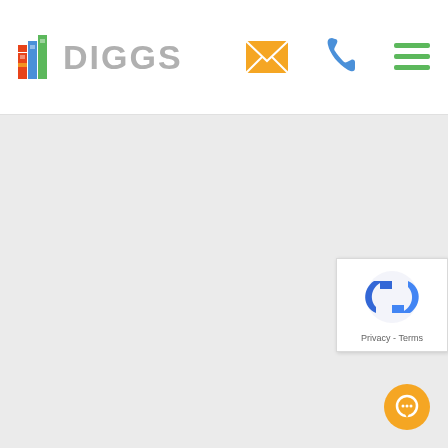[Figure (logo): Diggs real estate logo with colorful building icon and grey text]
[Figure (other): Email icon (envelope), phone icon, and hamburger menu icon in header navigation]
[Figure (other): Large grey content area (map or blank content placeholder)]
[Figure (other): Google reCAPTCHA widget with circular arrow logo and Privacy - Terms links]
[Figure (other): Orange circular chat/message button in bottom right corner]